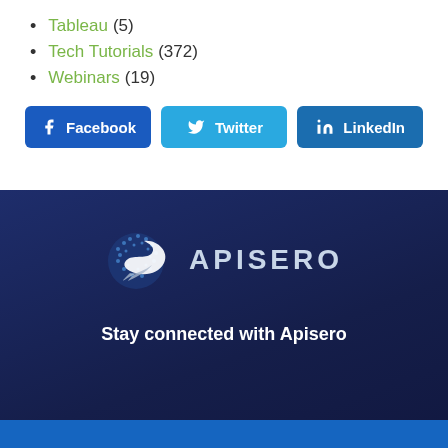Tableau (5)
Tech Tutorials (372)
Webinars (19)
Facebook  Twitter  LinkedIn
[Figure (logo): Apisero logo with stylized globe/bird icon and text APISERO in metallic letters on dark navy background]
Stay connected with Apisero